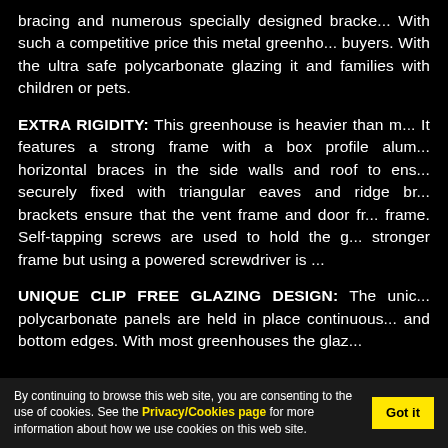bracing and numerous specially designed brackets. With such a competitive price this metal greenhouse buyers. With the ultra safe polycarbonate glazing it and families with children or pets.
EXTRA RIGIDITY: This greenhouse is heavier than most. It features a strong frame with a box profile aluminium, horizontal braces in the side walls and roof to ensure securely fixed with triangular eaves and ridge brackets. Brackets ensure that the vent frame and door frame. Self-tapping screws are used to hold the glass, stronger frame but using a powered screwdriver is recommended.
UNIQUE CLIP FREE GLAZING DESIGN: The unique polycarbonate panels are held in place continuously and bottom edges. With most greenhouses the glazing...
By continuing to browse this web site, you are consenting to the use of cookies. See the Privacy/Cookies page for more information about how we use cookies on this web site.